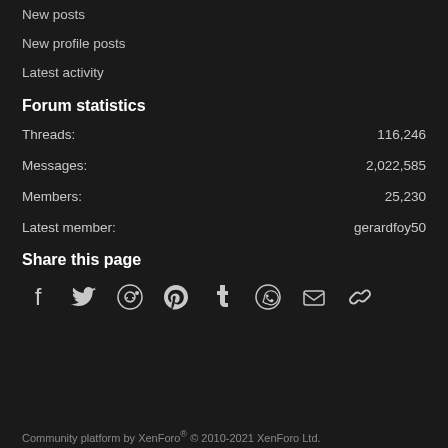New posts
New profile posts
Latest activity
Forum statistics
Threads: 116,246
Messages: 2,022,585
Members: 25,230
Latest member: gerardfoy50
Share this page
[Figure (infographic): Row of social sharing icons: Facebook, Twitter, Reddit, Pinterest, Tumblr, WhatsApp, Email, Link]
Community platform by XenForo® © 2010-2021 XenForo Ltd.